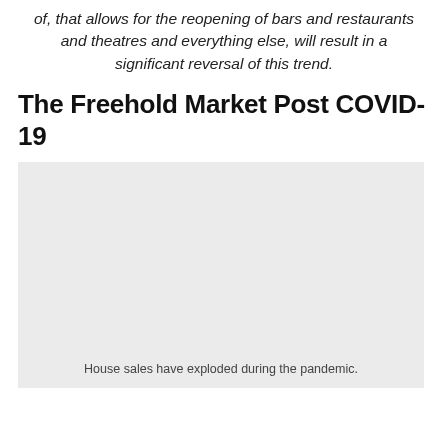of, that allows for the reopening of bars and restaurants and theatres and everything else, will result in a significant reversal of this trend.
The Freehold Market Post COVID-19
[Figure (photo): A large light gray placeholder image representing a photo related to the freehold market post COVID-19.]
House sales have exploded during the pandemic.